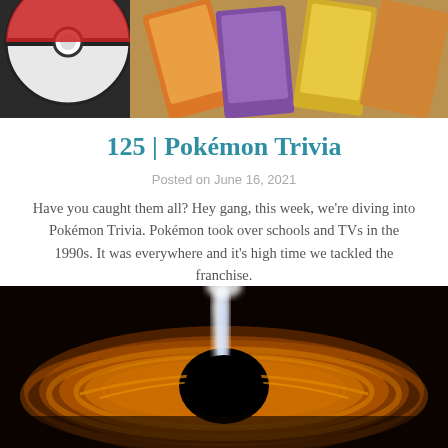[Figure (photo): Photo of a Pokéball and Pokémon trading cards spread out on a surface]
125 | Pokémon Trivia
Posted on June 16, 2021
Have you caught them all? Hey gang, this week, we're diving into Pokémon Trivia. Pokémon took over schools and TVs in the 1990s. It was everywhere and it's high time we tackled the franchise.
[Figure (photo): Artistic illustration of a black hole with an accretion disk glowing in orange and brown tones, with a bright jet of light above]